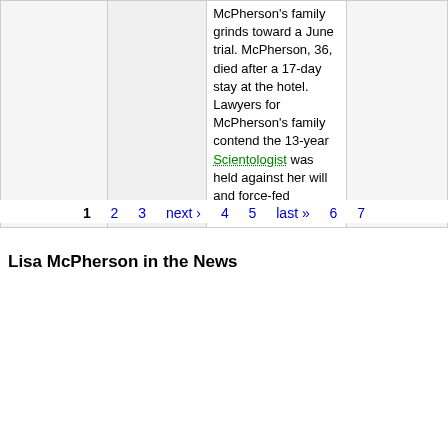|  |  | McPherson's family grinds toward a June trial. McPherson, 36, died after a 17-day stay at the hotel. Lawyers for McPherson's family contend the 13-year Scientologist was held against her will and force-fed medication. |  |
1  2  3  next ›  4  5  last »  6  7
Lisa McPherson in the News
| Date | Title ▼ | Blurb | Tags |
| --- | --- | --- | --- |
| February 9, 1988 | Time Machine Order | Brenda Hubert writes a Time Machine Order on Lisa McPherson. | Lisa McPherson, Scientology |
| February 8, 1988 | No Report | Larry Shelton writes a No Report on Lisa McPherson. | Lisa McPherson, Scientology |
| February | No Report | Larry Shelton writes a No Report... | Lisa McPherson... |